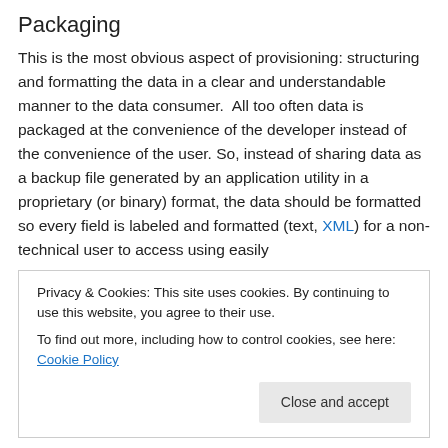Packaging
This is the most obvious aspect of provisioning: structuring and formatting the data in a clear and understandable manner to the data consumer.  All too often data is packaged at the convenience of the developer instead of the convenience of the user. So, instead of sharing data as a backup file generated by an application utility in a proprietary (or binary) format, the data should be formatted so every field is labeled and formatted (text, XML) for a non-technical user to access using easily
Privacy & Cookies: This site uses cookies. By continuing to use this website, you agree to their use.
To find out more, including how to control cookies, see here: Cookie Policy